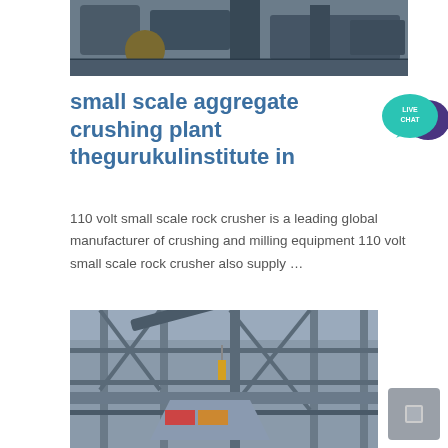[Figure (photo): Industrial crushing/milling machinery photographed from below, dark metallic equipment]
small scale aggregate crushing plant thegurukulinstitute in
[Figure (other): Live Chat badge — teal speech bubble with 'LIVE CHAT' text and purple chat bubble icon]
110 volt small scale rock crusher is a leading global manufacturer of crushing and milling equipment 110 volt small scale rock crusher also supply …
[Figure (photo): Interior of a large industrial crushing plant showing steel framework, conveyors, structural columns, and mezzanine levels]